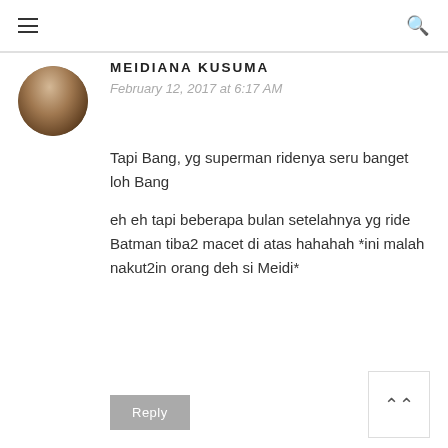≡  🔍
MEIDIANA KUSUMA
February 12, 2017 at 6:17 AM

Tapi Bang, yg superman ridenya seru banget loh Bang

eh eh tapi beberapa bulan setelahnya yg ride Batman tiba2 macet di atas hahahah *ini malah nakut2in orang deh si Meidi*
Reply